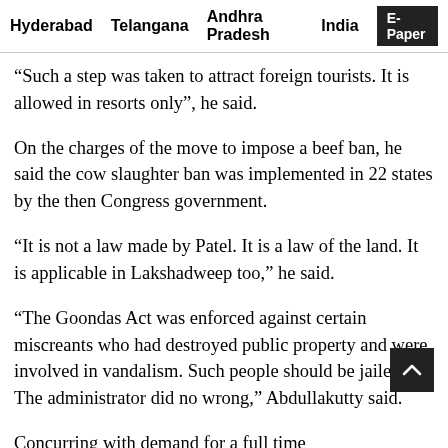Hyderabad   Telangana   Andhra Pradesh   India   E-Paper
“Such a step was taken to attract foreign tourists. It is allowed in resorts only”, he said.
On the charges of the move to impose a beef ban, he said the cow slaughter ban was implemented in 22 states by the then Congress government.
“It is not a law made by Patel. It is a law of the land. It is applicable in Lakshadweep too,” he said.
“The Goondas Act was enforced against certain miscreants who had destroyed public property and were involved in vandalism. Such people should be jailed. The administrator did no wrong,” Abdullakutty said.
Concurring with demand for a full time